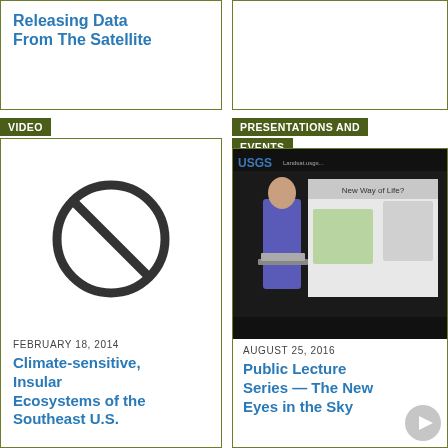Releasing Data From The Satellite
[Figure (photo): Empty top right card with olive green border]
VIDEO
PRESENTATIONS AND EVENTS
[Figure (illustration): No-image placeholder icon: circle with diagonal slash]
FEBRUARY 18, 2014
Climate-sensitive, Insular Ecosystems of the Southeast U.S.
[Figure (screenshot): USGS presentation screenshot showing a man at a laptop with a slide titled 'New Way of Life?' featuring cartoon images]
AUGUST 25, 2016
Public Lecture Series — The New Eyes in the Sky